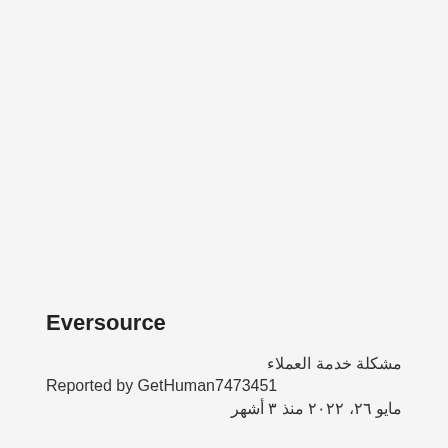Eversource
مشكلة خدمة العملاء
Reported by GetHuman7473451
مايو ٢٦، ٢٠٢٢ منذ ٣ أشهر